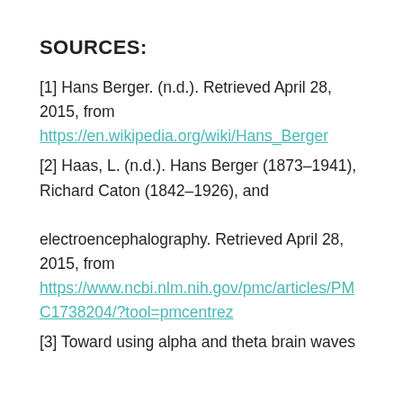SOURCES:
[1] Hans Berger. (n.d.). Retrieved April 28, 2015, from https://en.wikipedia.org/wiki/Hans_Berger
[2] Haas, L. (n.d.). Hans Berger (1873–1941), Richard Caton (1842–1926), and electroencephalography. Retrieved April 28, 2015, from https://www.ncbi.nlm.nih.gov/pmc/articles/PMC1738204/?tool=pmcentrez
[3] Toward using alpha and theta brain waves to certify...